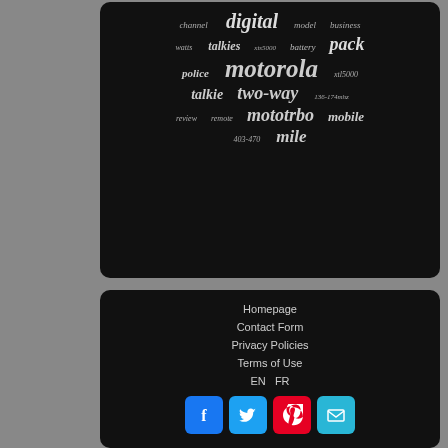[Figure (infographic): Tag cloud on dark background with radio/communication-related keywords in varying sizes and italic font. Words include: channel, digital, model, business, watts, talkies, xts5000, battery, pack, police, motorola, xtl5000, talkie, two-way, 136-174mhz, review, remote, mototrbo, mobile, 403-470, mile]
Homepage
Contact Form
Privacy Policies
Terms of Use
EN   FR
[Figure (infographic): Four social media icon buttons: Facebook (blue), Twitter (light blue), Pinterest (red), Email/Mail (cyan)]